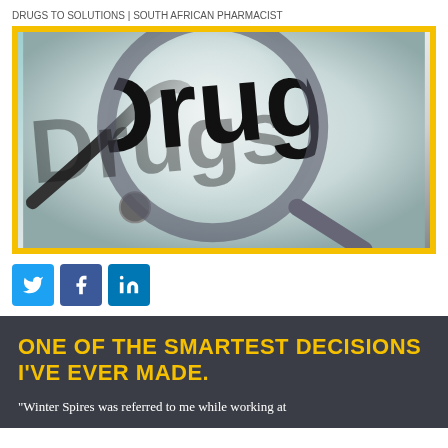DRUGS TO SOLUTIONS | SOUTH AFRICAN PHARMACIST
[Figure (photo): Close-up photo of the word 'Drugs' in large bold text viewed through a magnifying glass, with a stethoscope visible in the background. Yellow border frame around the image.]
[Figure (infographic): Social media share buttons: Twitter (blue bird icon), Facebook (blue f icon), LinkedIn (blue in icon)]
ONE OF THE SMARTEST DECISIONS I'VE EVER MADE.
"Winter Spires was referred to me while working at